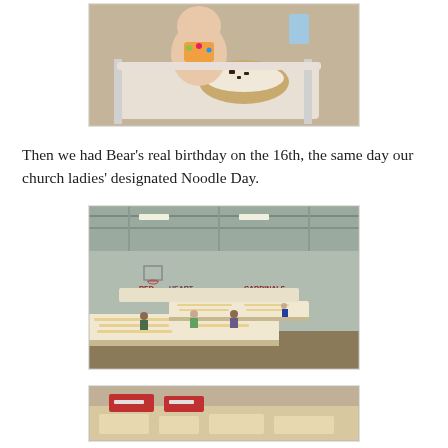[Figure (photo): Baby sitting in a high chair tray, shirtless, eating or touching a birthday cake with chocolate frosting and white whipped cream.]
Then we had Bear's real birthday on the 16th, the same day our church ladies' designated Noodle Day.
[Figure (photo): Large gymnasium or church hall with long tables covered in white cloths lined with what appears to be handmade noodles drying. Several people are working at the tables. Signs on the wall read RED HEART CARDINALS.]
[Figure (photo): Partial view of another photo at the bottom of the page, appears to show a table with items on it.]